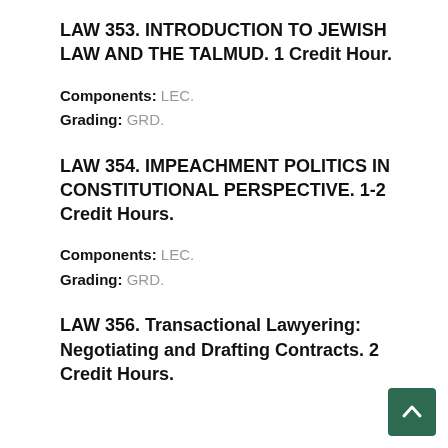LAW 353. INTRODUCTION TO JEWISH LAW AND THE TALMUD. 1 Credit Hour.
Components: LEC.
Grading: GRD.
LAW 354. IMPEACHMENT POLITICS IN CONSTITUTIONAL PERSPECTIVE. 1-2 Credit Hours.
Components: LEC.
Grading: GRD.
LAW 356. Transactional Lawyering: Negotiating and Drafting Contracts. 2 Credit Hours.